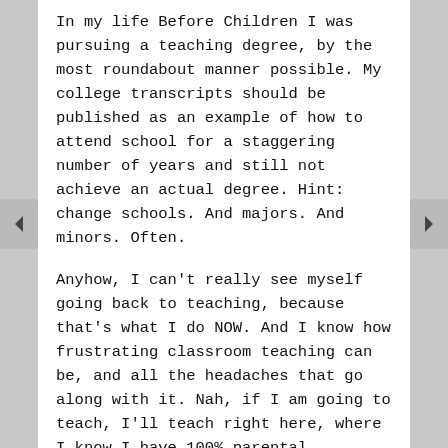In my life Before Children I was pursuing a teaching degree, by the most roundabout manner possible. My college transcripts should be published as an example of how to attend school for a staggering number of years and still not achieve an actual degree. Hint: change schools. And majors. And minors. Often.
Anyhow, I can't really see myself going back to teaching, because that's what I do NOW. And I know how frustrating classroom teaching can be, and all the headaches that go along with it. Nah, if I am going to teach, I'll teach right here, where I know I have 100% parental involvement and I can't get in trouble for telling a student, "You are being totally obnoxious. Cut it out."
The most money I ever made was as a cocktail waitress, a job I actually sort of liked. I wore a cheerleader's uniform and danced on a box. Wow, that sounds really sleazy, doesn't it? Heh. It was fun. And the money was insane. I